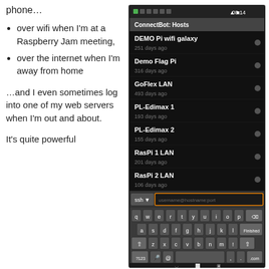phone…
over wifi when I'm at a Raspberry Jam meeting,
over the internet when I'm away from home
…and I even sometimes log into one of my web servers when I'm out and about.
It's quite powerful
[Figure (screenshot): Android phone screenshot showing ConnectBot SSH client app with a list of saved hosts (DEMO Pi wifi galaxy, Demo Flag Pi, GoFlex LAN, PL-Edimax 1, PL-Edimax 2, RasPi 1 LAN, RasPi 2 LAN) and an on-screen keyboard with SSH input field showing 'username@hostname:port']